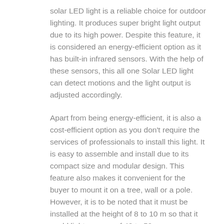solar LED light is a reliable choice for outdoor lighting. It produces super bright light output due to its high power. Despite this feature, it is considered an energy-efficient option as it has built-in infrared sensors. With the help of these sensors, this all one Solar LED light can detect motions and the light output is adjusted accordingly.
Apart from being energy-efficient, it is also a cost-efficient option as you don't require the services of professionals to install this light. It is easy to assemble and install due to its compact size and modular design. This feature also makes it convenient for the buyer to mount it on a tree, wall or a pole. However, it is to be noted that it must be installed at the height of 8 to 10 m so that it could light an area of 40 to 50 m.